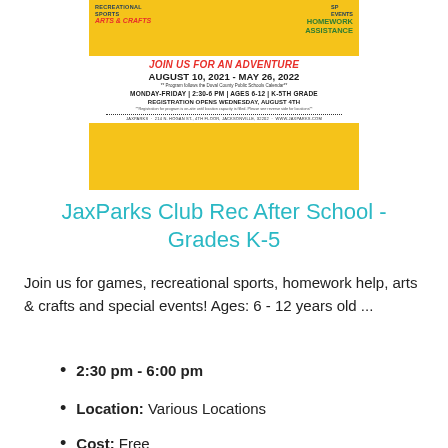[Figure (illustration): JaxParks Club Rec After School program flyer showing children with text: JOIN US FOR AN ADVENTURE, AUGUST 10, 2021 - MAY 26, 2022, MONDAY-FRIDAY | 2:30-6 PM | AGES 6-12 | K-5TH GRADE, REGISTRATION OPENS WEDNESDAY, AUGUST 4TH. Yellow background with illustrated children. Activities listed: Recreational Sports, Arts & Crafts, Homework Assistance, Special Events.]
JaxParks Club Rec After School - Grades K-5
Join us for games, recreational sports, homework help, arts & crafts and special events! Ages: 6 - 12 years old ...
2:30 pm - 6:00 pm
Location: Various Locations
Cost: Free